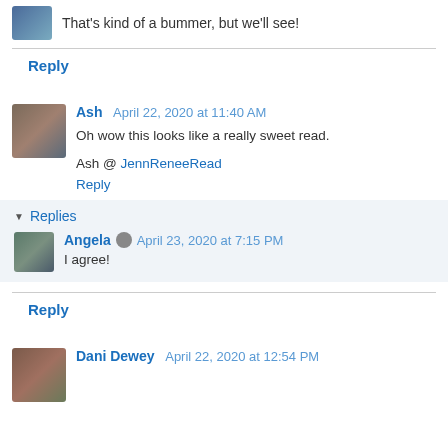That's kind of a bummer, but we'll see!
Reply
Ash  April 22, 2020 at 11:40 AM
Oh wow this looks like a really sweet read.
Ash @ JennReneeRead
Reply
Replies
Angela  April 23, 2020 at 7:15 PM
I agree!
Reply
Dani Dewey  April 22, 2020 at 12:54 PM